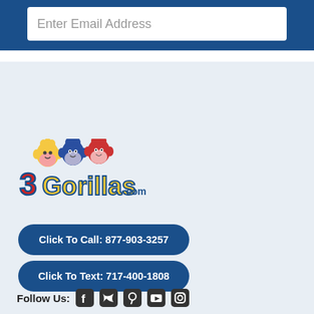Enter Email Address
[Figure (logo): 3Gorillas.com logo with three cartoon gorilla heads (yellow, blue, red) above colorful text '3Gorillas.com']
Click To Call: 877-903-3257
Click To Text: 717-400-1808
Follow Us: